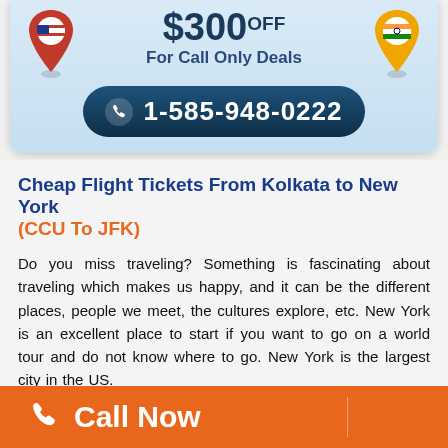[Figure (infographic): Promotional banner with US and India location pins, $300 OFF For Call Only Deals discount text, and phone number button showing 1-585-948-0222]
Cheap Flight Tickets From Kolkata to New York (CCU To JFK)
Do you miss traveling? Something is fascinating about traveling which makes us happy, and it can be the different places, people we meet, the cultures explore, etc. New York is an excellent place to start if you want to go on a world tour and do not know where to go. New York is the largest city in the US.
Call Now